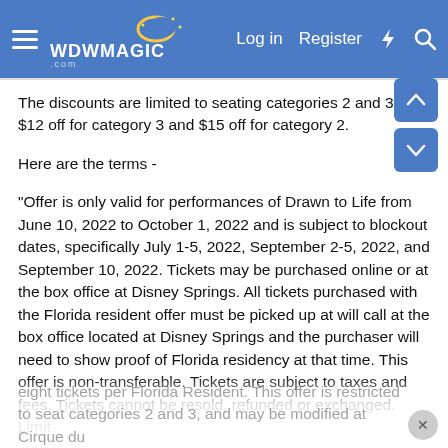WDWMAGIC - Log in  Register
The discounts are limited to seating categories 2 and 3 - $12 off for category 3 and $15 off for category 2.
Here are the terms -
"Offer is only valid for performances of Drawn to Life from June 10, 2022 to October 1, 2022 and is subject to blockout dates, specifically July 1-5, 2022, September 2-5, 2022, and September 10, 2022. Tickets may be purchased online or at the box office at Disney Springs. All tickets purchased with the Florida resident offer must be picked up at will call at the box office located at Disney Springs and the purchaser will need to show proof of Florida residency at that time. This offer is non-transferable. Tickets are subject to taxes and fees. Tickets cannot be resold, refunded or exchanged. Limit eight tickets per Florida Resident. This offer is restricted to seat categories 2 and 3, and may be modified at Cirque du Soleil...